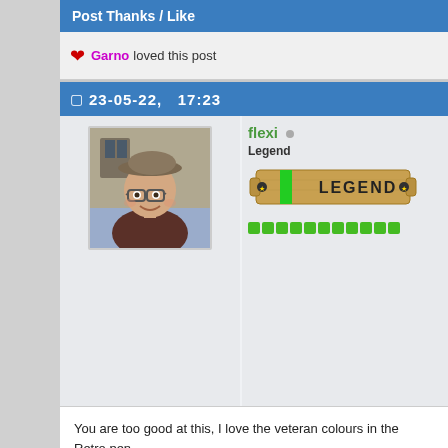Post Thanks / Like
❤ Garno loved this post
23-05-22,   17:23
[Figure (photo): Profile photo of user flexi — a man wearing a flat cap and glasses, smiling, outdoors near a stone building]
flexi  Legend
[Figure (illustration): Wooden badge/plaque with green stripe and text LEGEND, star bolts on each side]
[Figure (illustration): Row of green reputation dots/squares]
You are too good at this, I love the veteran colours in the Retro pen
I only open my mouth...to change feet...
www.turningmatters.co.uk
[Figure (illustration): Yellow laughing emoji with hands on cheeks]